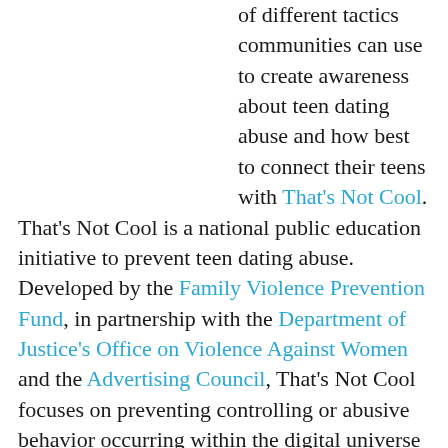of different tactics communities can use to create awareness about teen dating abuse and how best to connect their teens with That's Not Cool. That's Not Cool is a national public education initiative to prevent teen dating abuse. Developed by the Family Violence Prevention Fund, in partnership with the Department of Justice's Office on Violence Against Women and the Advertising Council, That's Not Cool focuses on preventing controlling or abusive behavior occurring within the digital universe – online, via cellphone, etc. – and encourages teens to draw their own lines about what is, or is not, acceptable